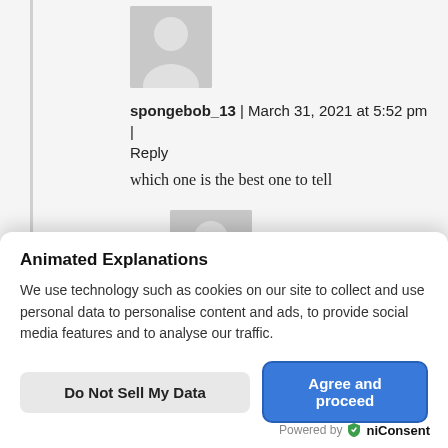[Figure (illustration): Grey avatar placeholder image of a person silhouette, top comment]
spongebob_13 | March 31, 2021 at 5:52 pm | Reply
which one is the best one to tell
[Figure (illustration): Grey avatar placeholder image of a person silhouette, second comment]
Animated Explanations
We use technology such as cookies on our site to collect and use personal data to personalise content and ads, to provide social media features and to analyse our traffic.
Do Not Sell My Data
Agree and proceed
Powered by OniConsent